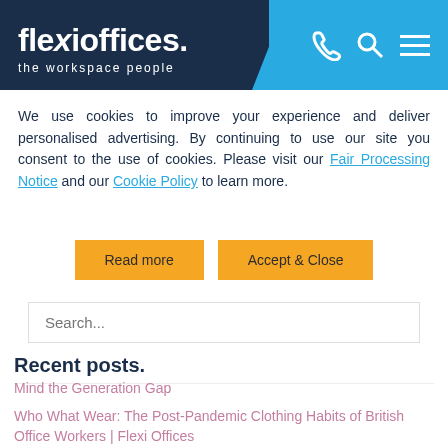[Figure (logo): Flexioffices logo with tagline 'the workspace people' on dark navy background, with phone, search, and menu icons on blue background]
We use cookies to improve your experience and deliver personalised advertising. By continuing to use our site you consent to the use of cookies. Please visit our Fair Processing Notice and our Cookie Policy to learn more.
Read more | Accept & Close
Search...
Recent posts.
Mind the Generation Gap
Who What Wear: The Post-Pandemic Clothing Habits of British Office Workers | Flexi Offices